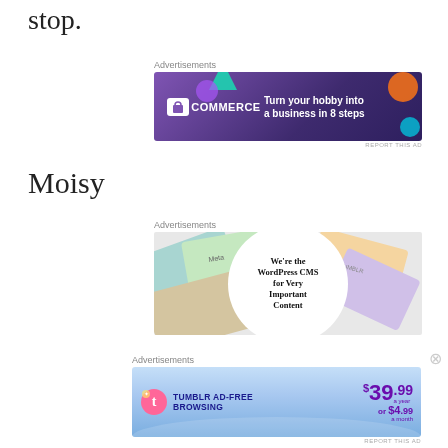stop.
[Figure (other): WooCommerce advertisement banner: purple background with WooCommerce logo on left, text 'Turn your hobby into a business in 8 steps' on right, colorful geometric decorations]
REPORT THIS AD
Moisy
Advertisements
[Figure (other): WordPress CMS advertisement with colorful cards in background and white circle in center reading 'We're the WordPress CMS for Very Important Content']
Advertisements
[Figure (other): Tumblr Ad-Free Browsing advertisement: blue gradient background with Tumblr logo, text 'TUMBLR AD-FREE BROWSING', price $39.99 a year or $4.99 a month]
REPORT THIS AD